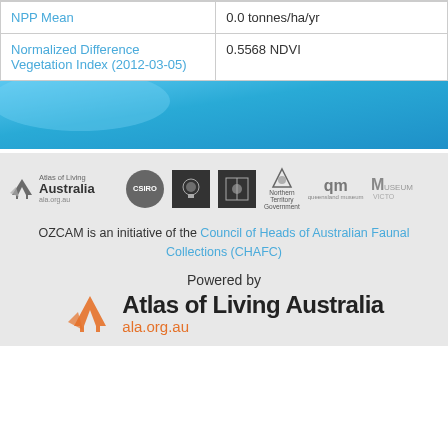| Property | Value |
| --- | --- |
| NPP Mean | 0.0 tonnes/ha/yr |
| Normalized Difference Vegetation Index (2012-03-05) | 0.5568 NDVI |
[Figure (illustration): Blue gradient decorative banner]
[Figure (logo): Partner organization logos: Atlas of Living Australia (ala.org.au), CSIRO, Australian Museum, Museum and Art Gallery of the Northern Territory Government, Queensland Museum (qm), Museum Victoria]
OZCAM is an initiative of the Council of Heads of Australian Faunal Collections (CHAFC)
[Figure (logo): Powered by Atlas of Living Australia ala.org.au]